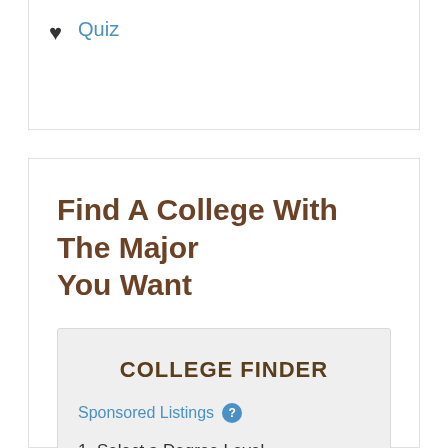Quiz
Find A College With The Major You Want
COLLEGE FINDER
Sponsored Listings
1. Select a Degree Level